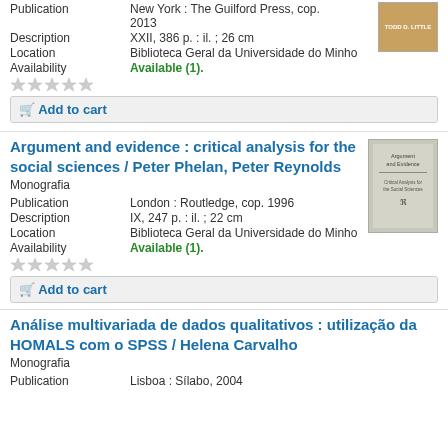Publication: New York: The Guilford Press, cop. 2013
Description: XXII, 386 p. : il. ; 26 cm
Location: Biblioteca Geral da Universidade do Minho
Availability: Available (1).
Add to cart
Argument and evidence : critical analysis for the social sciences / Peter Phelan, Peter Reynolds
Monografia
Publication: London : Routledge, cop. 1996
Description: IX, 247 p. : il. ; 22 cm
Location: Biblioteca Geral da Universidade do Minho
Availability: Available (1).
Add to cart
Análise multivariada de dados qualitativos : utilização da HOMALS com o SPSS / Helena Carvalho
Monografia
Publication: Lisboa : Sílabo, 2004